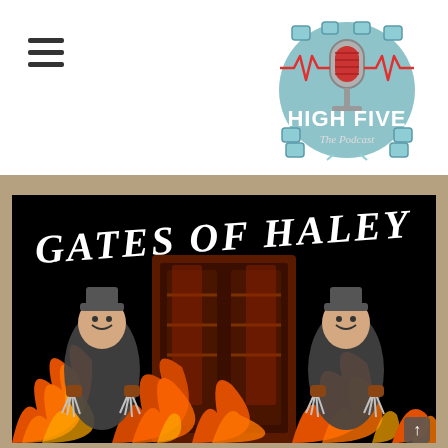[Figure (logo): High Five The Podcast logo — illustrated microphone with film reel and red heartbeat line, teal/gray color scheme, text 'HIGH FIVE The Podcast']
[Figure (illustration): Gates of Haley promotional image — dark horror theme with large stylized text 'GATES OF HALEY' in white gothic font on black background, dramatic fiery gates with flames, two figures with Freddy Krueger-style clawed gloves wearing hats on left and right sides]